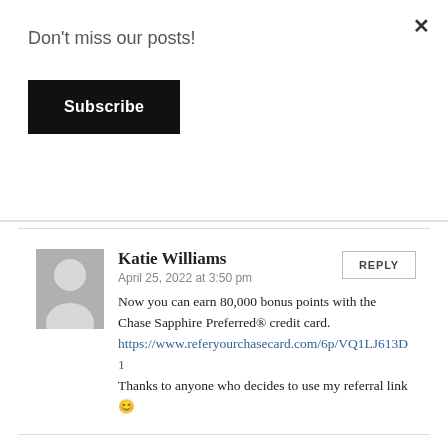Don't miss our posts!
Subscribe
Katie Williams
April 25, 2022 at 3:50 pm
Now you can earn 80,000 bonus points with the Chase Sapphire Preferred® credit card. https://www.referyourchasecard.com/6p/VQ1LJ613D1 Thanks to anyone who decides to use my referral link😊
Karan
April 25, 2022 at 1:12 pm
Hey! Thanks to anyone who decides to use my link for 80k 80,000 bonus chase sapphire points